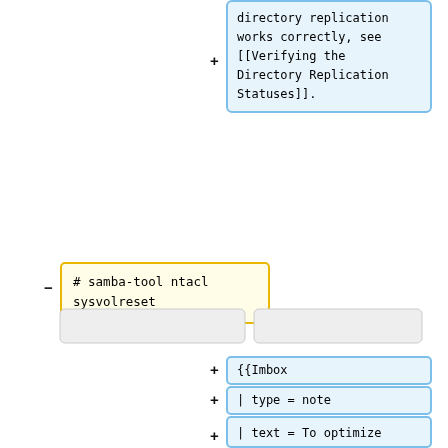+ directory replication works correctly, see [[Verifying the Directory Replication Statuses]].
- # samba-tool ntacl sysvolreset
[Figure (screenshot): Two gray collapsed boxes side by side]
+ {{Imbox
+ | type = note
+ | text = To optimize replication latency and cost, the KCC in Samba 4.5 and later no longer creates a fully-meshed replication topology between all DCs. For further details, see